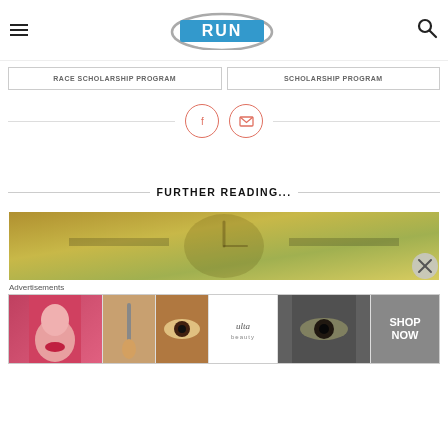Run Oregon
RACE SCHOLARSHIP PROGRAM
SCHOLARSHIP PROGRAM
[Figure (infographic): Social share icons: Facebook circle icon and email/envelope circle icon, with horizontal lines on either side]
FURTHER READING...
[Figure (photo): Partial article thumbnail image showing a blurred clock face with golden/yellow toned background and leaves]
Advertisements
[Figure (infographic): Ulta Beauty advertisement banner showing beauty/makeup imagery with 'SHOP NOW' call to action on right side]